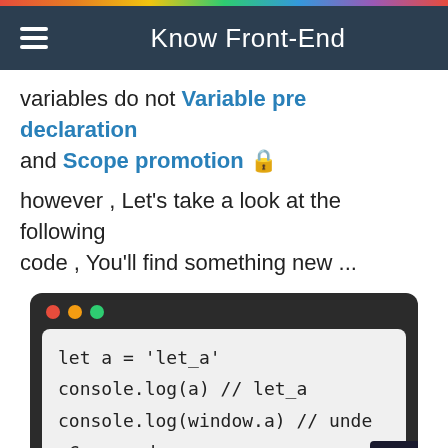Know Front-End
variables do not Variable pre declaration and Scope promotion 🔒
however , Let's take a look at the following code , You'll find something new ...
[Figure (screenshot): A code editor window with macOS-style traffic light buttons showing JavaScript code: let a = 'let_a', console.log(a) // let_a, console.log(window.a) // unde, Copy code button]